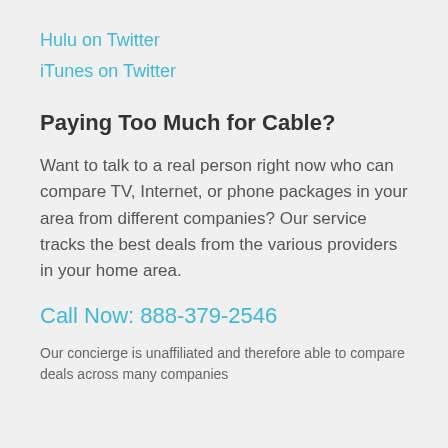Hulu on Twitter
iTunes on Twitter
Paying Too Much for Cable?
Want to talk to a real person right now who can compare TV, Internet, or phone packages in your area from different companies? Our service tracks the best deals from the various providers in your home area.
Call Now: 888-379-2546
Our concierge is unaffiliated and therefore able to compare deals across many companies